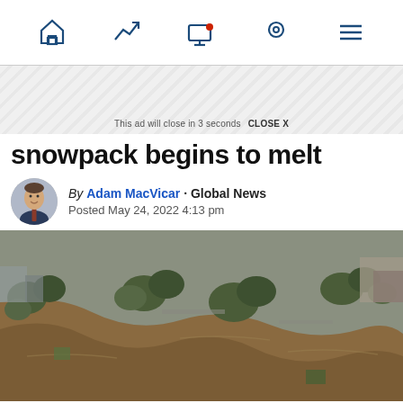Navigation bar with home, trending, screen, location, and menu icons
This ad will close in 3 seconds  CLOSE X
snowpack begins to melt
By Adam MacVicar · Global News
Posted May 24, 2022 4:13 pm
[Figure (photo): Aerial view of a flooded river with brown muddy water winding through a city, surrounded by trees and urban structures]